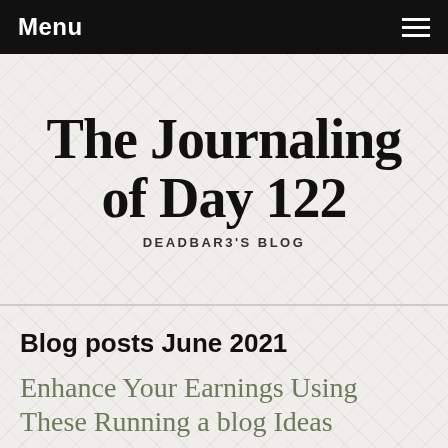Menu
The Journaling of Day 122
DEADBAR3'S BLOG
Blog posts June 2021
Enhance Your Earnings Using These Running a blog Ideas